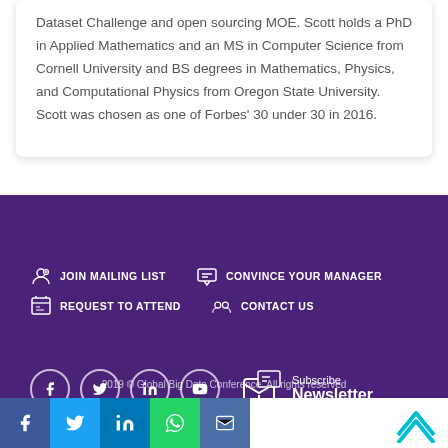Dataset Challenge and open sourcing MOE. Scott holds a PhD in Applied Mathematics and an MS in Computer Science from Cornell University and BS degrees in Mathematics, Physics, and Computational Physics from Oregon State University. Scott was chosen as one of Forbes' 30 under 30 in 2016.
JOIN MAILING LIST
CONVINCE YOUR MANAGER
REQUEST TO ATTEND
CONTACT US
[Figure (infographic): Social media icons: Facebook, Twitter, LinkedIn, YouTube circles; Subscribe Newsletter mailbox icon]
2019 © Global Big Data Conference. All rights reserved
[Figure (infographic): Bottom bar with social media share buttons: Facebook (blue), Twitter (light blue), LinkedIn (dark blue), WhatsApp (green), Email (blue); scroll-to-top arrow on right]